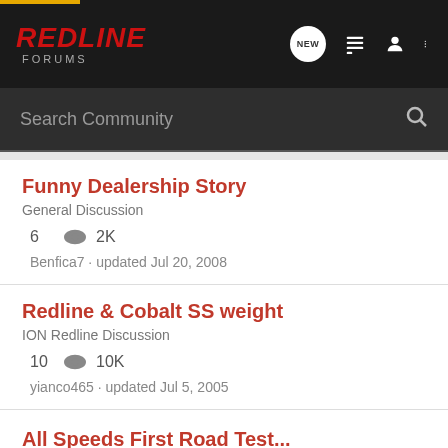RedLine Forums
Search Community
Funny Dealership Story
General Discussion
6  2K
Benfica7 · updated Jul 20, 2008
Redline & Cobalt SS weight
ION Redline Discussion
10  10K
yianco465 · updated Jul 5, 2005
All Speeds First Road Test...